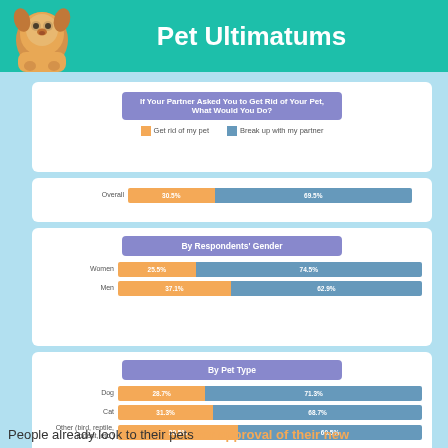Pet Ultimatums
If Your Partner Asked You to Get Rid of Your Pet, What Would You Do?
Get rid of my pet   Break up with my partner
[Figure (stacked-bar-chart): Overall]
By Respondents' Gender
[Figure (stacked-bar-chart): By Respondents' Gender]
By Pet Type
[Figure (stacked-bar-chart): By Pet Type]
Source: Survey of 1000 people in a relationship with a pet owner
People already look to their pets for approval of their new